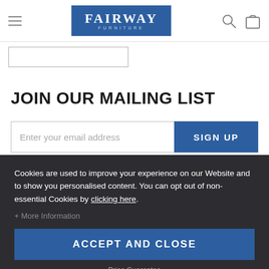Fairway Furniture
JOIN OUR MAILING LIST
Enter your email address
SIGN UP
Cookies are used to improve your experience on our Website and to show you personalised content. You can opt out of non-essential Cookies by clicking here.
+ More Information
ACCEPT AND CLOSE
Price Guarantee